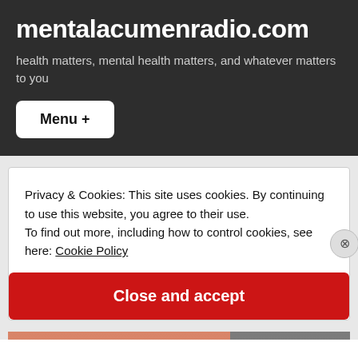mentalacumenradio.com
health matters, mental health matters, and whatever matters to you
Menu +
Privacy & Cookies: This site uses cookies. By continuing to use this website, you agree to their use.
To find out more, including how to control cookies, see here: Cookie Policy
Close and accept